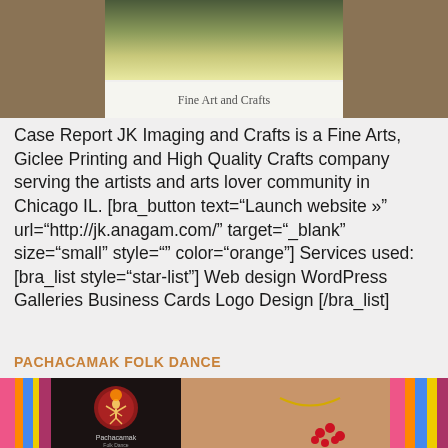[Figure (photo): Top banner showing a fine art and crafts image with brown borders on left and right, and a landscape/nature image in the center with caption 'Fine Art and Crafts']
Fine Art and Crafts
Case Report JK Imaging and Crafts is a Fine Arts, Giclee Printing and High Quality Crafts company serving the artists and arts lover community in Chicago IL. [bra_button text="Launch website »" url="http://jk.anagam.com/" target="_blank" size="small" style="" color="orange"] Services used: [bra_list style="star-list"] Web design WordPress Galleries Business Cards Logo Design [/bra_list]
PACHACAMAK FOLK DANCE
[Figure (photo): Colorful photo of traditional folk dance with vibrant textile patterns and a dark inset box showing a circular logo with 'Pachacamak' text]